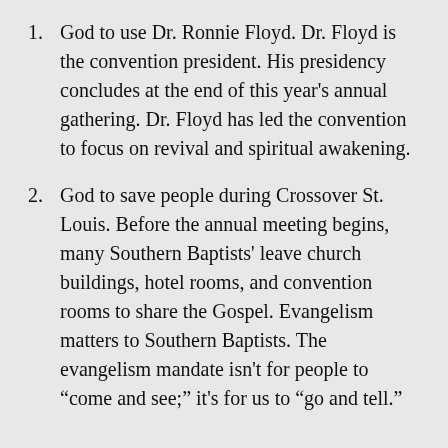God to use Dr. Ronnie Floyd. Dr. Floyd is the convention president. His presidency concludes at the end of this year's annual gathering. Dr. Floyd has led the convention to focus on revival and spiritual awakening.
God to save people during Crossover St. Louis. Before the annual meeting begins, many Southern Baptists' leave church buildings, hotel rooms, and convention rooms to share the Gospel. Evangelism matters to Southern Baptists. The evangelism mandate isn't for people to “come and see;” it's for us to “go and tell.”